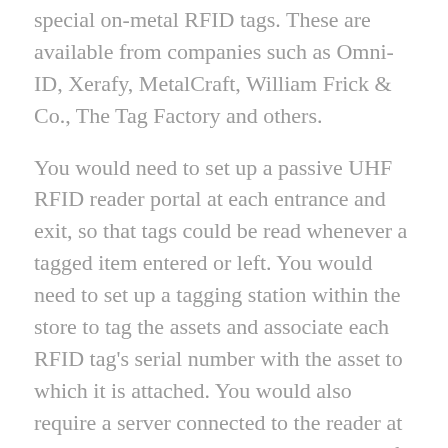special on-metal RFID tags. These are available from companies such as Omni-ID, Xerafy, MetalCraft, William Frick & Co., The Tag Factory and others.
You would need to set up a passive UHF RFID reader portal at each entrance and exit, so that tags could be read whenever a tagged item entered or left. You would need to set up a tagging station within the store to tag the assets and associate each RFID tag's serial number with the asset to which it is attached. You would also require a server connected to the reader at the tagging station to host the database of assets with their associated tag IDs.
My suggestion would be to engage a competent systems integrator, which could help you to design and install the solution. Here are some articles we have published about companies tracking IT assets. They